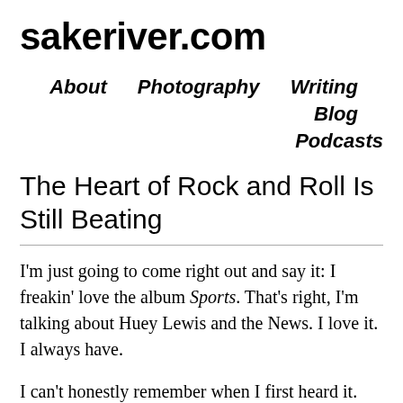sakeriver.com
About  Photography  Writing  Blog  Podcasts
The Heart of Rock and Roll Is Still Beating
I'm just going to come right out and say it: I freakin' love the album Sports. That's right, I'm talking about Huey Lewis and the News. I love it. I always have.
I can't honestly remember when I first heard it. The album came out in 1983, at which point I was four years old. My dad had it on vinyl, though at that point tapes still hadn't surpassed LPs as the